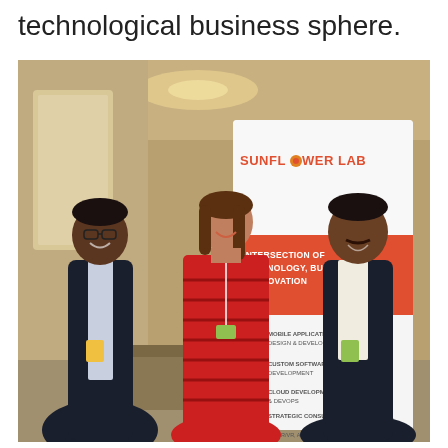technological business sphere.
[Figure (photo): Three people standing in front of a Sunflower Lab banner at a conference. The banner reads: SUNFLOWER LAB, INTERSECTION OF TECHNOLOGY, BUSINESS & INNOVATION, with service icons for MOBILE APPLICATION DESIGN & DEVELOPMENT, CUSTOM SOFTWARE DEVELOPMENT, CLOUD DEVELOPMENT & DEVOPS, STRATEGIC CONSULTING, IOT, AR/VR, ALEXA, GOOGLE HOME. Left person is a man in a dark suit, center is a woman in a red striped dress, right is a man in a dark suit.]